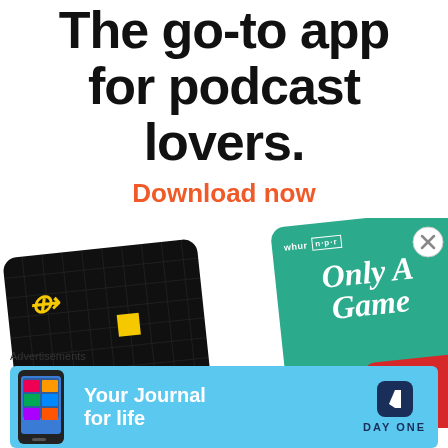The go-to app for podcast lovers.
Download now
[Figure (illustration): Two podcast app cards: a black card with grid pattern and yellow square (Scrabble-like), and a teal/green card with WHUR NPR logo and 'Only A Game' text, plus a red card partially visible. Represents podcast app artwork.]
Advertisements
[Figure (illustration): Day One journal app advertisement banner on light blue background. Shows phone with app screenshot on left, 'Your Journal for life' text in center, Day One logo (dark blue bookmark icon) and 'DAY ONE' text on right.]